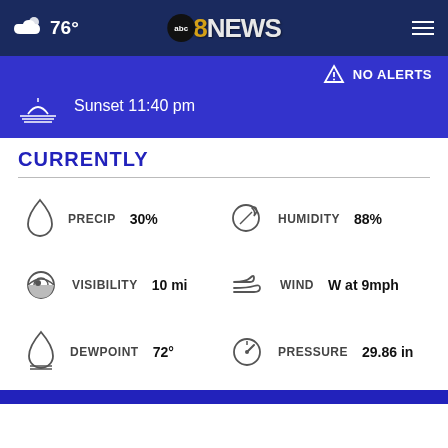76° abc 8NEWS
NO ALERTS
Sunset 11:40 pm
CURRENTLY
PRECIP 30%
HUMIDITY 88%
VISIBILITY 10 mi
WIND W at 9mph
DEWPOINT 72°
PRESSURE 29.86 in